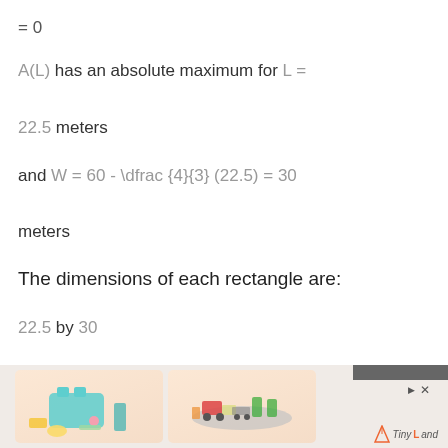A(L) has an absolute maximum for L =
22.5 meters
and W = 60 - \dfrac{4}{3} (22.5) = 30 meters
The dimensions of each rectangle are:
22.5 by 30
[Figure (photo): Advertisement banner showing two product images: a toy toaster set on the left and a wooden train set on the right, with Tiny Land branding.]